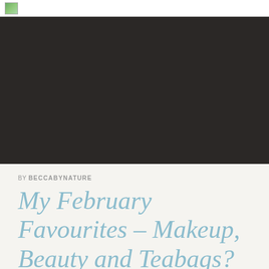[Figure (photo): Large dark/nearly black hero image taking up the top portion of the page]
BY BECCABYNATURE
My February Favourites – Makeup, Beauty and Teabags?